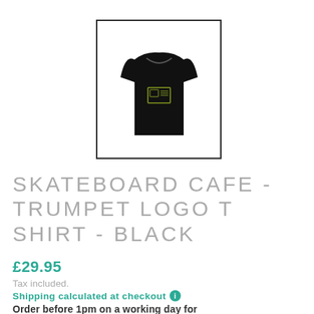[Figure (photo): Black t-shirt with a small rectangular logo graphic on the chest, displayed on a white background inside a dark border frame.]
SKATEBOARD CAFE - TRUMPET LOGO T SHIRT - BLACK
£29.95
Tax included.
Shipping calculated at checkout ℹ
Order before 1pm on a working day for